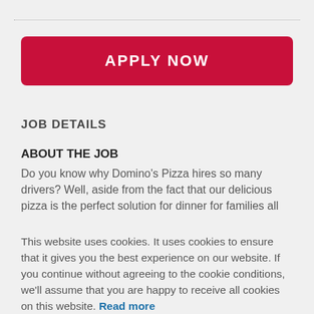[Figure (other): Red 'APPLY NOW' button with rounded corners on a light grey background, below a dotted separator line]
JOB DETAILS
ABOUT THE JOB
Do you know why Domino's Pizza hires so many drivers? Well, aside from the fact that our delicious pizza is the perfect solution for dinner for families all
This website uses cookies. It uses cookies to ensure that it gives you the best experience on our website. If you continue without agreeing to the cookie conditions, we'll assume that you are happy to receive all cookies on this website. Read more
[Figure (other): Red 'CONTINUE' button with rounded corners]